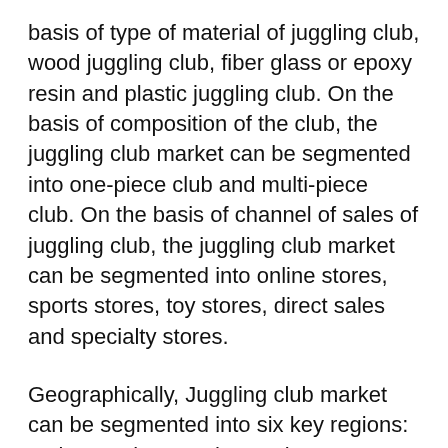basis of type of material of juggling club, wood juggling club, fiber glass or epoxy resin and plastic juggling club. On the basis of composition of the club, the juggling club market can be segmented into one-piece club and multi-piece club. On the basis of channel of sales of juggling club, the juggling club market can be segmented into online stores, sports stores, toy stores, direct sales and specialty stores.
Geographically, Juggling club market can be segmented into six key regions: Latin America, North America, Europe, Japan, Asia Pacific excluding Japan and Middle East and Africa. The International Jugglers' Association was founded in June of 1947 at an International Brotherhood of